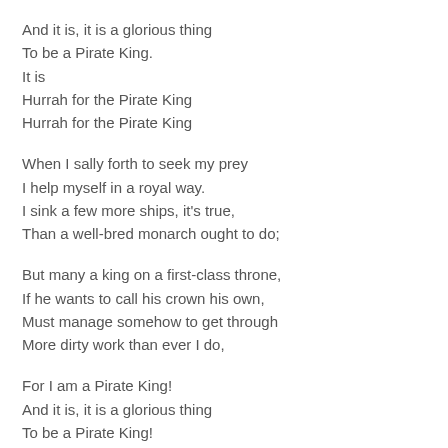And it is, it is a glorious thing
To be a Pirate King.
It is
Hurrah for the Pirate King
Hurrah for the Pirate King
When I sally forth to seek my prey
I help myself in a royal way.
I sink a few more ships, it's true,
Than a well-bred monarch ought to do;
But many a king on a first-class throne,
If he wants to call his crown his own,
Must manage somehow to get through
More dirty work than ever I do,
For I am a Pirate King!
And it is, it is a glorious thing
To be a Pirate King!
I am a Pirate King!